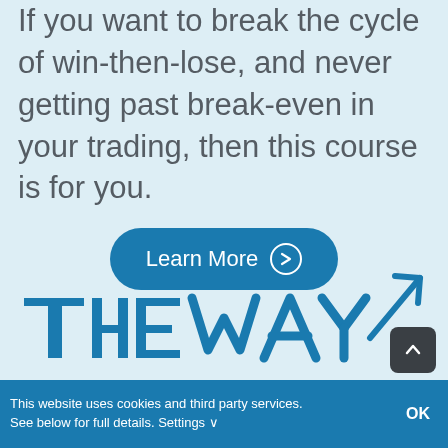If you want to break the cycle of win-then-lose, and never getting past break-even in your trading, then this course is for you.
[Figure (other): A blue rounded button labeled 'Learn More' with a circled right-arrow icon]
[Figure (logo): Stylized text logo reading 'THE WAY' in blue block letters with an upward-pointing arrow/line graphic element]
This website uses cookies and third party services. See below for full details. Settings ∨